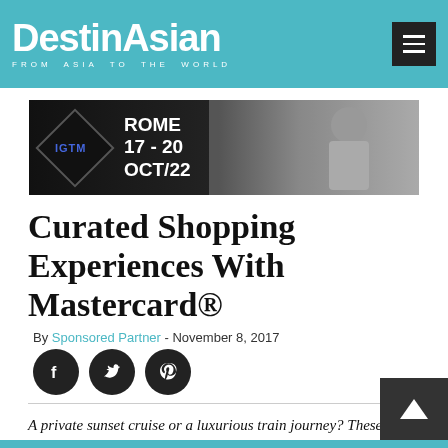DestinAsian — FROM ASIA TO THE WORLD
[Figure (photo): IGTM advertisement banner: ROME 17-20 OCT/22 with man in sunglasses on right side]
Curated Shopping Experiences With Mastercard®
By Sponsored Partner - November 8, 2017
[Figure (infographic): Social sharing icons: Facebook, Twitter, Pinterest]
A private sunset cruise or a luxurious train journey? These experiences are just the tip of the iceberg when it comes to immersing yourself in the Mastercard Priceless® Cities program.